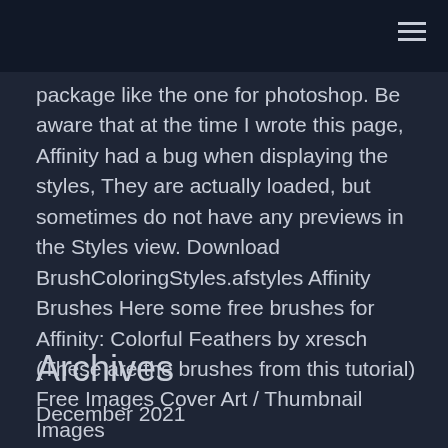package like the one for photoshop. Be aware that at the time I wrote this page, Affinity had a bug when displaying the styles, They are actually loaded, but sometimes do not have any previews in the Styles view. Download BrushColoringStyles.afstyles Affinity Brushes Here some free brushes for Affinity: Colorful Feathers by xresch (These are the brushes from this tutorial) Free Images Cover Art / Thumbnail Images
Read More
Archives
December 2021